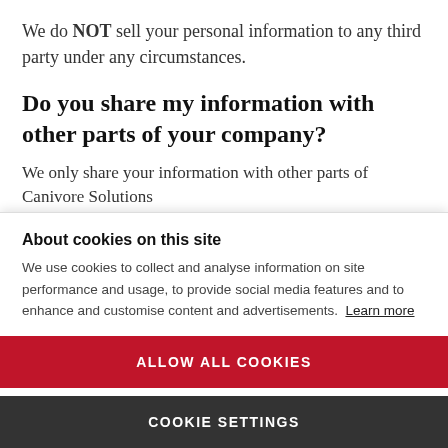We do NOT sell your personal information to any third party under any circumstances.
Do you share my information with other parts of your company?
We only share your information with other parts of Canivore Solutions
About cookies on this site
We use cookies to collect and analyse information on site performance and usage, to provide social media features and to enhance and customise content and advertisements. Learn more
ALLOW ALL COOKIES
COOKIE SETTINGS